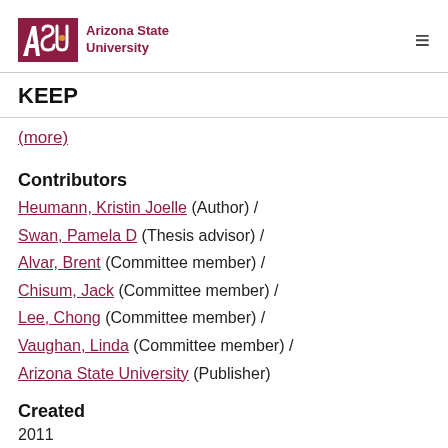ASU Arizona State University
KEEP
(more)
Contributors
Heumann, Kristin Joelle (Author)  /
Swan, Pamela D (Thesis advisor)  /
Alvar, Brent (Committee member)  /
Chisum, Jack (Committee member)  /
Lee, Chong (Committee member)  /
Vaughan, Linda (Committee member)  /
Arizona State University (Publisher)
Created
2011